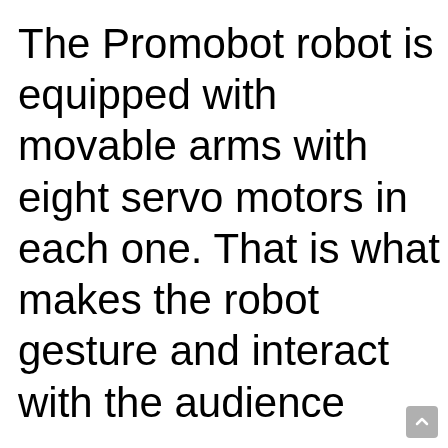The Promobot robot is equipped with movable arms with eight servo motors in each one. That is what makes the robot gesture and interact with the audience